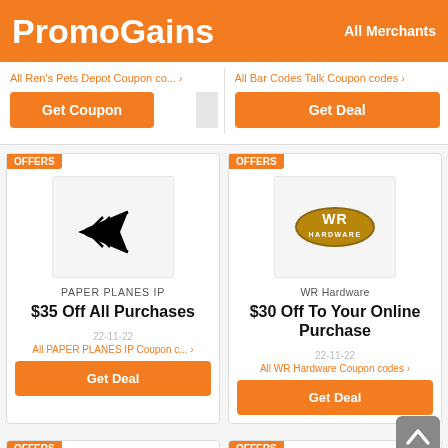PromoGains   All Merchants
All Ren's Pets Depot Coupon co...
Get Coupon
All Bar Codes Talk Coupon codes
Get Deal
OFFERS
[Figure (logo): Paper Planes IP logo - black stylized paper airplane/arrow icon]
PAPER PLANES IP
$35 Off All Purchases
22-11-22
All PAPER PLANES IP Coupon c...
Get Deal
OFFERS
[Figure (logo): WR Hardware logo - gold/brown oval badge with WR HARDWARE text]
WR Hardware
$30 Off To Your Online Purchase
22-11-22
All WR Hardware Coupon codes
Get Deal
OFFERS
OFFERS